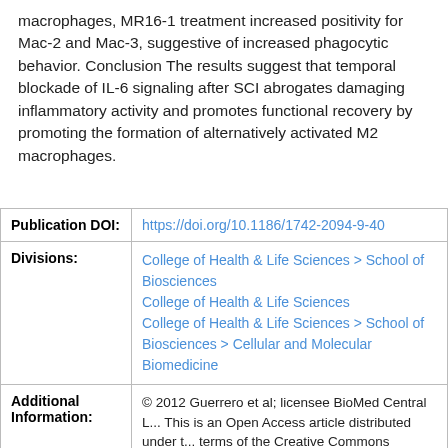macrophages, MR16-1 treatment increased positivity for Mac-2 and Mac-3, suggestive of increased phagocytic behavior. Conclusion The results suggest that temporal blockade of IL-6 signaling after SCI abrogates damaging inflammatory activity and promotes functional recovery by promoting the formation of alternatively activated M2 macrophages.
| Field | Value |
| --- | --- |
| Publication DOI: | https://doi.org/10.1186/1742-2094-9-40 |
| Divisions: | College of Health & Life Sciences > School of Biosciences
College of Health & Life Sciences
College of Health & Life Sciences > School of Biosciences > Cellular and Molecular Biomedicine |
| Additional Information: | © 2012 Guerrero et al; licensee BioMed Central L... This is an Open Access article distributed under the terms of the Creative Commons Attribution License (http://creativecommons.org/licenses/by/2.0), wh... permits unrestricted use, distribution, and repro... |